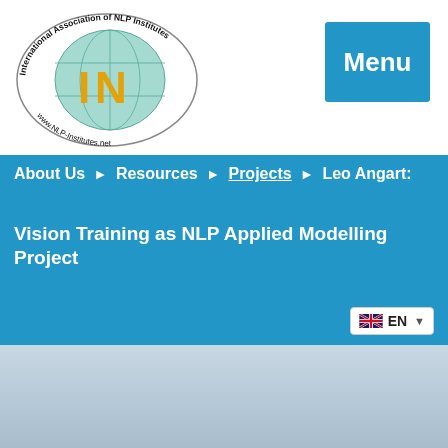[Figure (logo): International Association of NLP Institutes oval logo with globe and IN letters, www.NLP-Institutes.net]
Menu
About Us ▶ Resources ▶ Projects ▶ Leo Angart:
Vision Training as NLP Applied Modelling Project
[Figure (photo): Portrait photo of Leo Angart, an older man smiling with hand near face, wearing dark clothing]